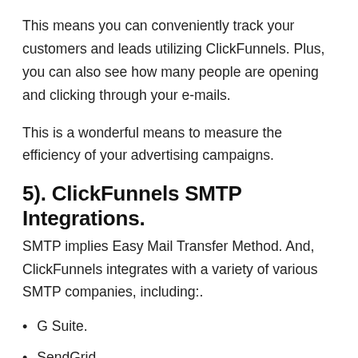This means you can conveniently track your customers and leads utilizing ClickFunnels. Plus, you can also see how many people are opening and clicking through your e-mails.
This is a wonderful means to measure the efficiency of your advertising campaigns.
5). ClickFunnels SMTP Integrations.
SMTP implies Easy Mail Transfer Method. And, ClickFunnels integrates with a variety of various SMTP companies, including:.
G Suite.
SendGrid.